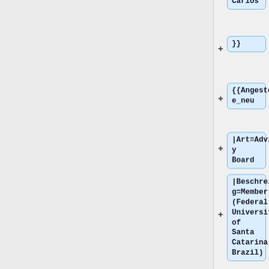soni, Carlos
}}
{{Angestellte_neu
|Art=Advisory Board
|Beschreibung=Member (Federal University of Santa Catarina, Brazil)
|Value=Leis, Héctor Ricardo
}}